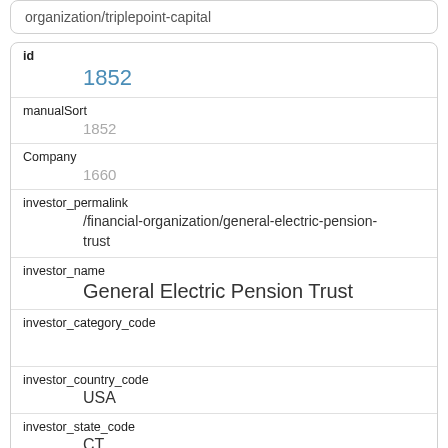organization/triplepoint-capital
| id | 1852 |
| manualSort | 1852 |
| Company | 1660 |
| investor_permalink | /financial-organization/general-electric-pension-trust |
| investor_name | General Electric Pension Trust |
| investor_category_code |  |
| investor_country_code | USA |
| investor_state_code | CT |
| investor_region | Fairfield |